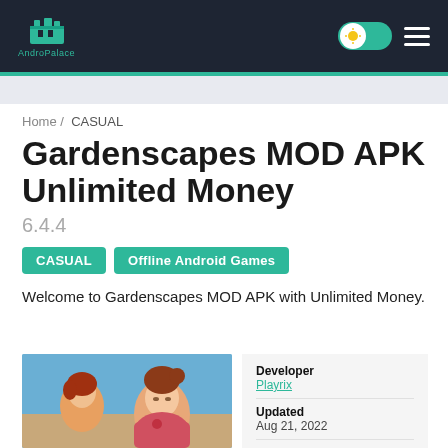AndroPalace
Home / CASUAL
Gardenscapes MOD APK Unlimited Money
6.4.4
CASUAL
Offline Android Games
Welcome to Gardenscapes MOD APK with Unlimited Money.
[Figure (photo): Gardenscapes app screenshot showing animated female character]
| Field | Value |
| --- | --- |
| Developer | Playrix |
| Updated | Aug 21, 2022 |
| Size |  |